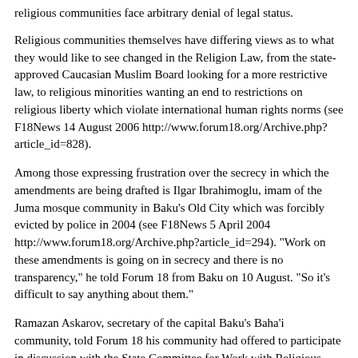religious communities face arbitrary denial of legal status.
Religious communities themselves have differing views as to what they would like to see changed in the Religion Law, from the state-approved Caucasian Muslim Board looking for a more restrictive law, to religious minorities wanting an end to restrictions on religious liberty which violate international human rights norms (see F18News 14 August 2006 http://www.forum18.org/Archive.php?article_id=828).
Among those expressing frustration over the secrecy in which the amendments are being drafted is Ilgar Ibrahimoglu, imam of the Juma mosque community in Baku's Old City which was forcibly evicted by police in 2004 (see F18News 5 April 2004 http://www.forum18.org/Archive.php?article_id=294). "Work on these amendments is going on in secrecy and there is no transparency," he told Forum 18 from Baku on 10 August. "So it's difficult to say anything about them."
Ramazan Askarov, secretary of the capital Baku's Baha'i community, told Forum 18 his community had offered to participate in discussion with the State Committee for Work with Religious Organisations, about the proposed amendments. He said the State Committee had promised to invite the community to take part, but no invitation has been issued yet.